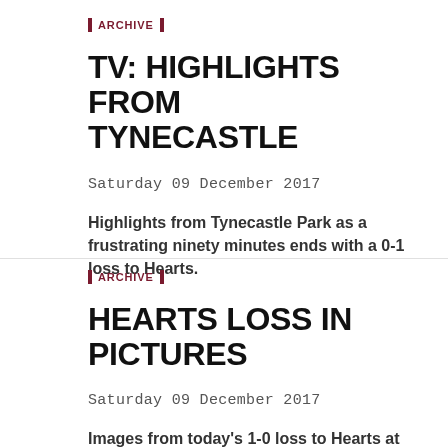ARCHIVE
TV: HIGHLIGHTS FROM TYNECASTLE
Saturday 09 December 2017
Highlights from Tynecastle Park as a frustrating ninety minutes ends with a 0-1 loss to Hearts.
ARCHIVE
HEARTS LOSS IN PICTURES
Saturday 09 December 2017
Images from today's 1-0 loss to Hearts at